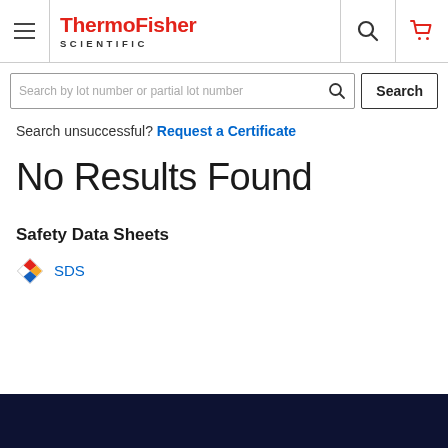ThermoFisher SCIENTIFIC
Search by lot number or partial lot number
Search unsuccessful? Request a Certificate
No Results Found
Safety Data Sheets
SDS